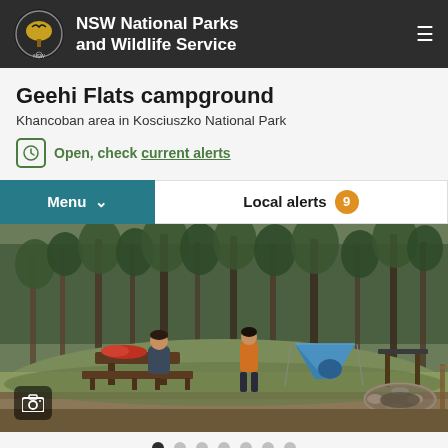NSW National Parks and Wildlife Service
Geehi Flats campground
Khancoban area in Kosciuszko National Park
Open, check current alerts
Menu  ▾
Local alerts 9
[Figure (photo): Two people at a campsite in a forested flat area. One sits at a picnic table with a red bag, another stands nearby in an orange jacket. A blue tent is pitched in the background, and a fire ring with stones is in the foreground right. Trees and green grass fill the background.]
● ○ ○ ○ ○ ○ ○
Give feedback